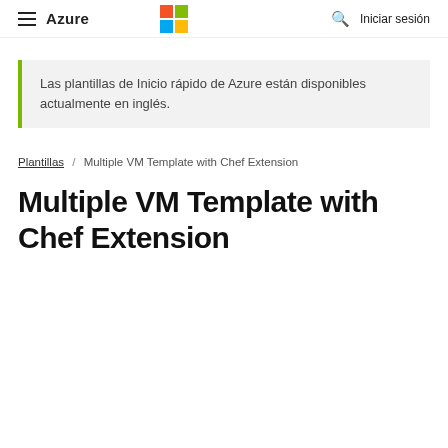Azure  |  Microsoft Logo  |  Search  |  Iniciar sesión
Las plantillas de Inicio rápido de Azure están disponibles actualmente en inglés.
Plantillas / Multiple VM Template with Chef Extension
Multiple VM Template with Chef Extension